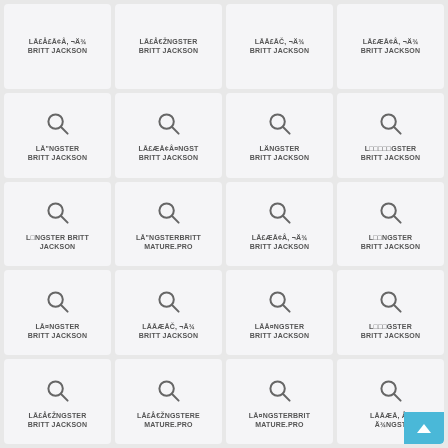[Figure (screenshot): Grid of 20 search result cards, each showing a magnifying glass icon and text. Row 1 (no icon): LĀ£Å£Ā¢Â, ¬Ä¾ BRITT JACKSON | LĀ£Å€ŽNGSTER BRITT JACKSON | LĀĀ£Āč, ¬Ä¾ BRITT JACKSON | LĀ£Æ Ā¢Â, ¬Ä¾ BRITT JACKSON. Rows 2-5 with magnifying glass icons and various text labels.]